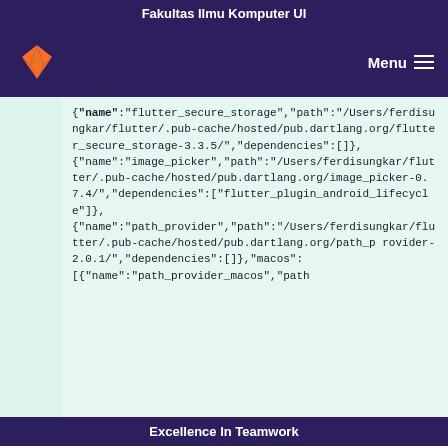Fakultas Ilmu Komputer UI
[Figure (logo): GitLab fox logo in orange and red on dark purple navigation bar with Menu hamburger icon]
{"name":"flutter_secure_storage","path":"/Users/ferdisungkar/flutter/.pub-cache/hosted/pub.dartlang.org/flutter_secure_storage-3.3.5/","dependencies":[]},{"name":"image_picker","path":"/Users/ferdisungkar/flutter/.pub-cache/hosted/pub.dartlang.org/image_picker-0.7.4/","dependencies":["flutter_plugin_android_lifecycle"]},{"name":"path_provider","path":"/Users/ferdisungkar/flutter/.pub-cache/hosted/pub.dartlang.org/path_provider-2.0.1/","dependencies":[]},"macos":[{"name":"path_provider_macos","path
Excellence In Teamwork